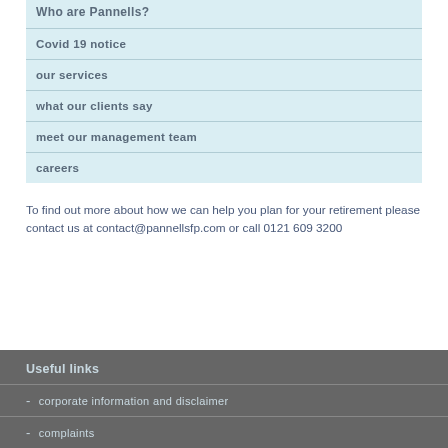Who are Pannells?
Covid 19 notice
our services
what our clients say
meet our management team
careers
To find out more about how we can help you plan for your retirement please contact us at contact@pannellsfp.com or call 0121 609 3200
Useful links
corporate information and disclaimer
complaints